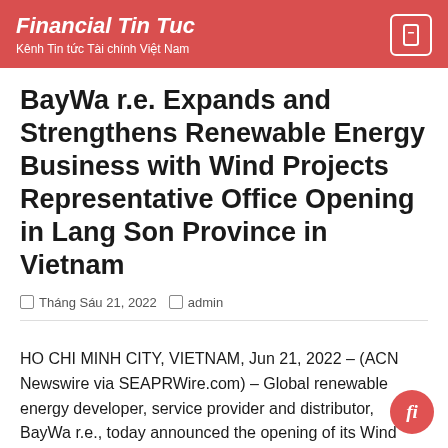Financial Tin Tuc
Kênh Tin tức Tài chính Việt Nam
BayWa r.e. Expands and Strengthens Renewable Energy Business with Wind Projects Representative Office Opening in Lang Son Province in Vietnam
□ Tháng Sáu 21, 2022  □ admin
HO CHI MINH CITY, VIETNAM, Jun 21, 2022 – (ACN Newswire via SEAPRWire.com) – Global renewable energy developer, service provider and distributor, BayWa r.e., today announced the opening of its Wind Projects Representative office in Lang Son Province, Vietnam. The opening of the Wind Projects Representative office will strengthen BayWa r.e.'s position as a